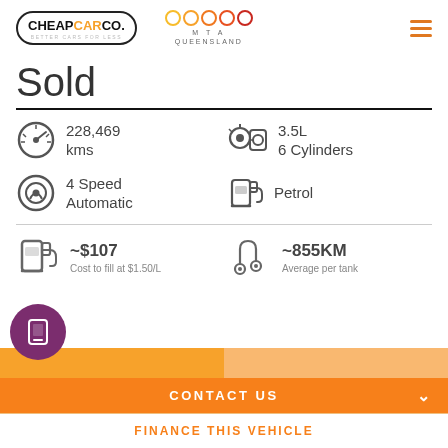[Figure (logo): CheapCarCo logo with oval border, orange text on 'CAR', and MTA Queensland logo with colored rings]
Sold
228,469 kms
3.5L 6 Cylinders
4 Speed Automatic
Petrol
~$107
Cost to fill at $1.50/L
~855KM
Average per tank
CONTACT US
FINANCE THIS VEHICLE